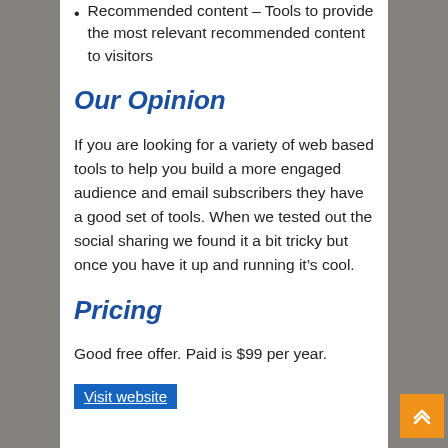Recommended content – Tools to provide the most relevant recommended content to visitors
Our Opinion
If you are looking for a variety of web based tools to help you build a more engaged audience and email subscribers they have a good set of tools. When we tested out the social sharing we found it a bit tricky but once you have it up and running it’s cool.
Pricing
Good free offer. Paid is $99 per year.
Visit website